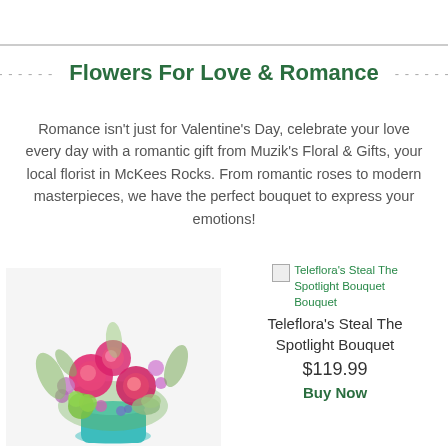Flowers For Love & Romance
Romance isn't just for Valentine's Day, celebrate your love every day with a romantic gift from Muzik's Floral & Gifts, your local florist in McKees Rocks. From romantic roses to modern masterpieces, we have the perfect bouquet to express your emotions!
[Figure (photo): Colorful floral bouquet with pink roses, purple and pink flowers, green accents, in a teal vase]
Teleflora's Steal The Spotlight Bouquet Bouquet
Teleflora's Steal The Spotlight Bouquet
$119.99
Buy Now